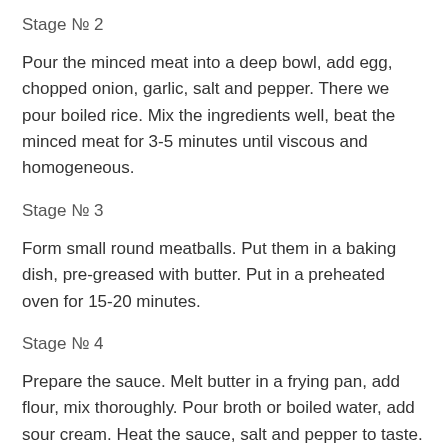Stage № 2
Pour the minced meat into a deep bowl, add egg, chopped onion, garlic, salt and pepper. There we pour boiled rice. Mix the ingredients well, beat the minced meat for 3-5 minutes until viscous and homogeneous.
Stage № 3
Form small round meatballs. Put them in a baking dish, pre-greased with butter. Put in a preheated oven for 15-20 minutes.
Stage № 4
Prepare the sauce. Melt butter in a frying pan, add flour, mix thoroughly. Pour broth or boiled water, add sour cream. Heat the sauce, salt and pepper to taste. As soon as the sauce starts to boil, remove from the heat and pour it over the meatballs. Bake in the oven for 20 minutes. Before serving, decorate the cutlets